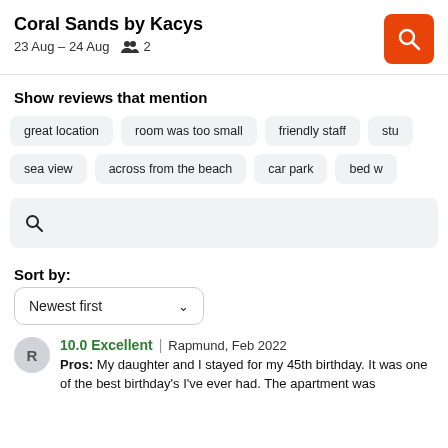Coral Sands by Kacys
23 Aug – 24 Aug  👥 2
Show reviews that mention
great location
room was too small
friendly staff
stu…
sea view
across from the beach
car park
bed w…
Sort by:
Newest first
10.0 Excellent | Rapmund, Feb 2022
Pros:  My daughter and I stayed for my 45th birthday. It was one of the best birthday's I've ever had. The apartment was absolutely beautiful. My highlight was the beautiful swimming